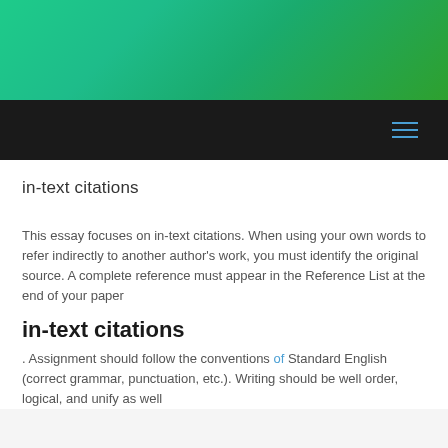[Figure (illustration): Green gradient header banner spanning full width]
[Figure (illustration): Black navigation bar with blue hamburger menu icon on the right]
in-text citations
This essay focuses on in-text citations. When using your own words to refer indirectly to another author's work, you must identify the original source. A complete reference must appear in the Reference List at the end of your paper
in-text citations
. Assignment should follow the conventions of Standard English (correct grammar, punctuation, etc.). Writing should be well order, logical, and unify as well